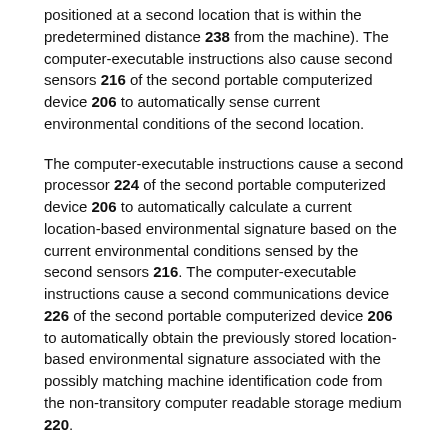positioned at a second location that is within the predetermined distance 238 from the machine). The computer-executable instructions also cause second sensors 216 of the second portable computerized device 206 to automatically sense current environmental conditions of the second location.
The computer-executable instructions cause a second processor 224 of the second portable computerized device 206 to automatically calculate a current location-based environmental signature based on the current environmental conditions sensed by the second sensors 216. The computer-executable instructions cause a second communications device 226 of the second portable computerized device 206 to automatically obtain the previously stored location-based environmental signature associated with the possibly matching machine identification code from the non-transitory computer readable storage medium 220.
The computer-executable instructions cause the second processor 224 to automatically compare the current location-based environmental signature with the previously stored location-based environmental signature to